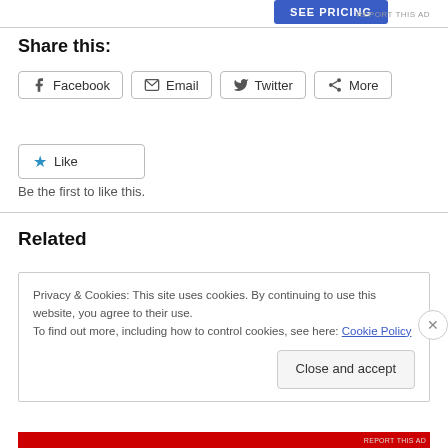[Figure (other): SEE PRICING blue button]
REPORT THIS AD
Share this:
Facebook  Email  Twitter  More (share buttons)
★ Like
Be the first to like this.
Related
Privacy & Cookies: This site uses cookies. By continuing to use this website, you agree to their use.
To find out more, including how to control cookies, see here: Cookie Policy
Close and accept